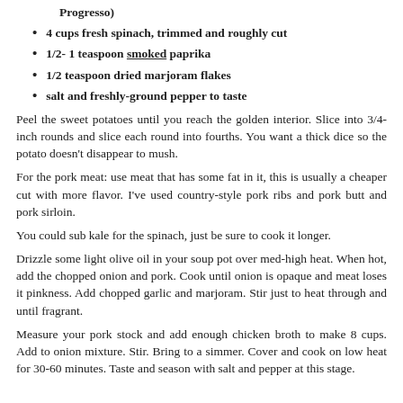Progresso)
4 cups fresh spinach, trimmed and roughly cut
1/2- 1 teaspoon smoked paprika
1/2 teaspoon dried marjoram flakes
salt and freshly-ground pepper to taste
Peel the sweet potatoes until you reach the golden interior. Slice into 3/4-inch rounds and slice each round into fourths. You want a thick dice so the potato doesn't disappear to mush.
For the pork meat: use meat that has some fat in it, this is usually a cheaper cut with more flavor. I've used country-style pork ribs and pork butt and pork sirloin.
You could sub kale for the spinach, just be sure to cook it longer.
Drizzle some light olive oil in your soup pot over med-high heat. When hot, add the chopped onion and pork. Cook until onion is opaque and meat loses it pinkness. Add chopped garlic and marjoram. Stir just to heat through and until fragrant.
Measure your pork stock and add enough chicken broth to make 8 cups. Add to onion mixture. Stir. Bring to a simmer. Cover and cook on low heat for 30-60 minutes. Taste and season with salt and pepper at this stage.